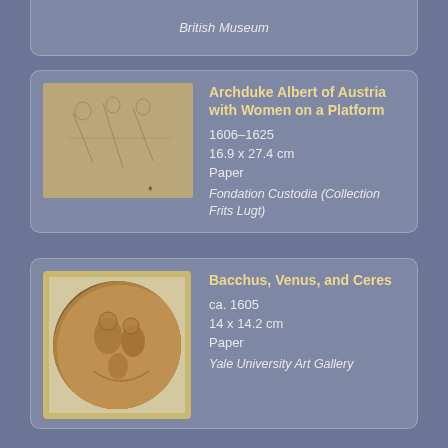British Museum
Archduke Albert of Austria with Women on a Platform
1606–1625
16.9 x 27.4 cm
Paper
Fondation Custodia (Collection Frits Lugt)
[Figure (photo): Sketch drawing of Archduke Albert of Austria with women on a platform]
Bacchus, Venus, and Ceres
ca. 1605
14 x 14.2 cm
Paper
Yale University Art Gallery
[Figure (photo): Circular drawing of Bacchus, Venus, and Ceres in a decorative frame]